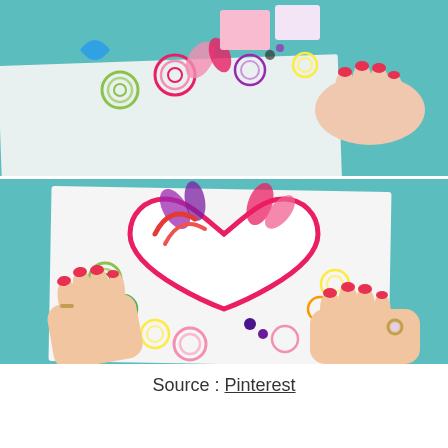[Figure (photo): Top photo showing hands with red nails near a paper quilling craft project with colorful swirls and shapes on a teal/blue background]
[Figure (photo): Bottom photo showing two hands with red nails holding a white card featuring a paper quilling heart design with colorful decorative swirls around the heart outline, on a teal background]
Source : Pinterest